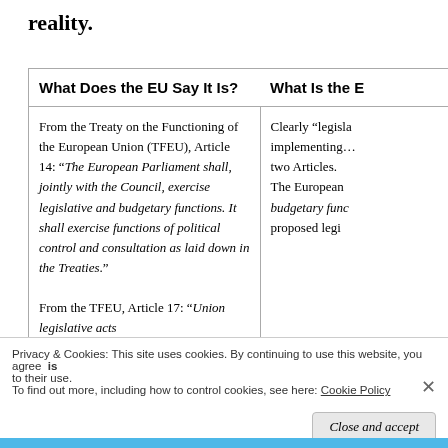reality.
| What Does the EU Say It Is? | What Is the E… |
| --- | --- |
| From the Treaty on the Functioning of the European Union (TFEU), Article 14: “The European Parliament shall, jointly with the Council, exercise legislative and budgetary functions. It shall exercise functions of political control and consultation as laid down in the Treaties.”

From the TFEU, Article 17: “Union legislative acts | Clearly “legisla… implementing… two Articles. … The European… budgetary func… proposed legi… |
Privacy & Cookies: This site uses cookies. By continuing to use this website, you agree to their use.
To find out more, including how to control cookies, see here: Cookie Policy